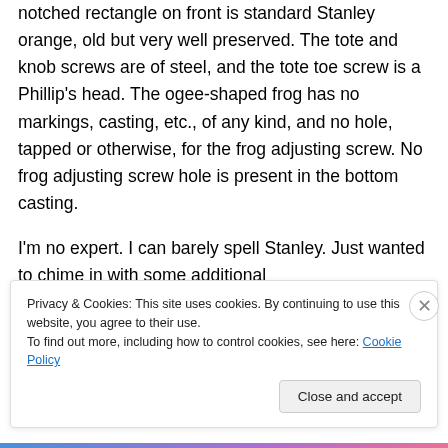notched rectangle on front is standard Stanley orange, old but very well preserved. The tote and knob screws are of steel, and the tote toe screw is a Phillip's head. The ogee-shaped frog has no markings, casting, etc., of any kind, and no hole, tapped or otherwise, for the frog adjusting screw. No frog adjusting screw hole is present in the bottom casting.
I'm no expert. I can barely spell Stanley. Just wanted to chime in with some additional
Privacy & Cookies: This site uses cookies. By continuing to use this website, you agree to their use.
To find out more, including how to control cookies, see here: Cookie Policy